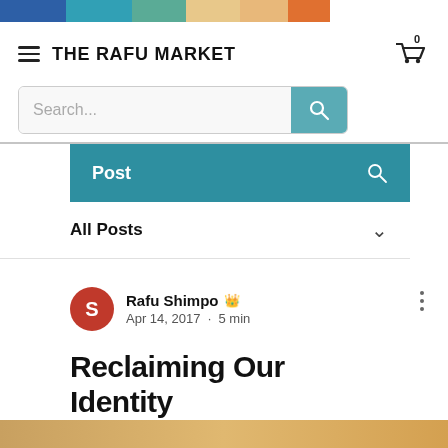[Figure (other): Horizontal color bar strip with six colors: dark blue, teal blue, teal green, tan/wheat, light orange, orange-red]
THE RAFU MARKET
[Figure (other): Search bar with placeholder text 'Search...' and a teal search button with magnifying glass icon]
Post
All Posts
Rafu Shimpo  Apr 14, 2017 · 5 min
Reclaiming Our Identity
[Figure (photo): Partial image at bottom of page, appears to be a photograph with warm tones]